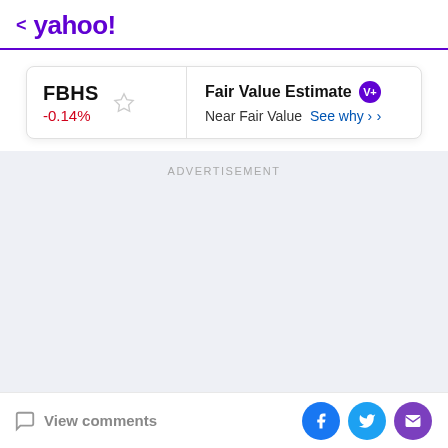< yahoo!
FBHS -0.14% | Fair Value Estimate V+ Near Fair Value See why >
ADVERTISEMENT
View comments